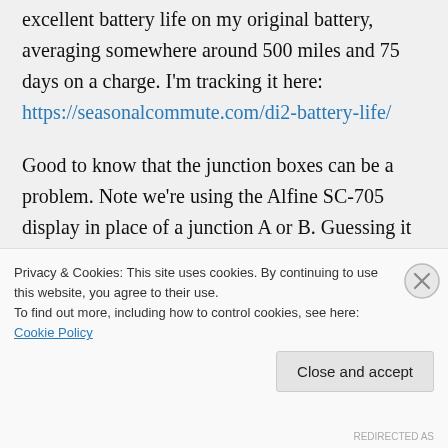excellent battery life on my original battery, averaging somewhere around 500 miles and 75 days on a charge. I'm tracking it here: https://seasonalcommute.com/di2-battery-life/
Good to know that the junction boxes can be a problem. Note we're using the Alfine SC-705 display in place of a junction A or B. Guessing it is just as likely to have the same problem but we haven't experienced
Privacy & Cookies: This site uses cookies. By continuing to use this website, you agree to their use.
To find out more, including how to control cookies, see here: Cookie Policy
Close and accept